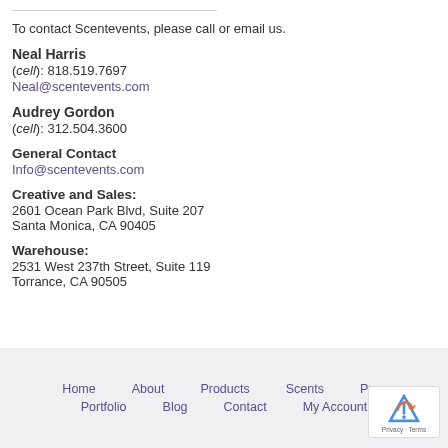To contact Scentevents, please call or email us.
Neal Harris
(cell): 818.519.7697
Neal@scentevents.com
Audrey Gordon
(cell): 312.504.3600
General Contact
Info@scentevents.com
Creative and Sales:
2601 Ocean Park Blvd, Suite 207
Santa Monica, CA 90405
Warehouse:
2531 West 237th Street, Suite 119
Torrance, CA 90505
Home   About   Products   Scents   Pres...
Portfolio   Blog   Contact   My Account